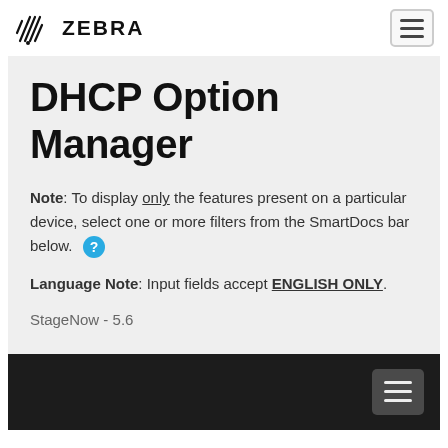ZEBRA
DHCP Option Manager
Note: To display only the features present on a particular device, select one or more filters from the SmartDocs bar below.
Language Note: Input fields accept ENGLISH ONLY.
StageNow - 5.6